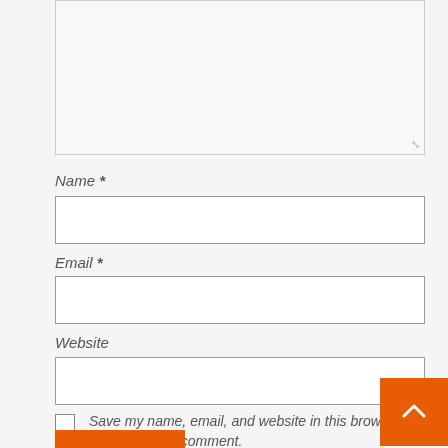[Figure (screenshot): Comment textarea input box, partially visible, with resize handle at bottom right]
Name *
[Figure (screenshot): Name text input field, empty]
Email *
[Figure (screenshot): Email text input field, empty]
Website
[Figure (screenshot): Website text input field, empty]
Save my name, email, and website in this browser for the next time I comment.
[Figure (screenshot): Orange submit button, partially visible at bottom]
[Figure (screenshot): Orange back-to-top button with upward chevron arrow, positioned at bottom right]